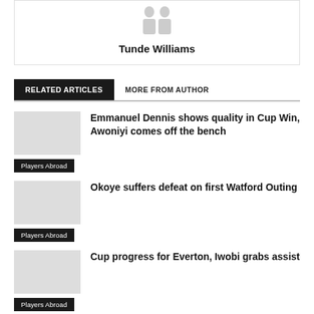[Figure (illustration): Author avatar silhouette with name Tunde Williams]
Tunde Williams
RELATED ARTICLES  MORE FROM AUTHOR
Emmanuel Dennis shows quality in Cup Win, Awoniyi comes off the bench
Players Abroad
Okoye suffers defeat on first Watford Outing
Players Abroad
Cup progress for Everton, Iwobi grabs assist
Players Abroad